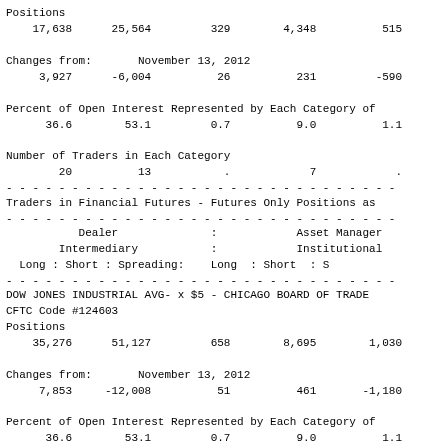Positions
17,638      25,564         329        4,348          515
Changes from:       November 13, 2012
3,927      -6,004          26          231         -590
Percent of Open Interest Represented by Each Category of
36.6        53.1         0.7          9.0          1.1
Number of Traders in Each Category
20          13           .            7            .
- - - - - - - - - - - - - - - - - - - - - - - - - - - - - - -
Traders in Financial Futures - Futures Only Positions as
- - - - - - - - - - - - - - - - - - - - - - - - - - - - - - -
Dealer              :            Asset Manager
Intermediary           :            Institutional
Long : Short : Spreading:    Long  : Short  : S
- - - - - - - - - - - - - - - - - - - - - - - - - - - - - - -
DOW JONES INDUSTRIAL AVG- x $5 - CHICAGO BOARD OF TRADE
CFTC Code #124603
Positions
35,276      51,127         658        8,695        1,030
Changes from:       November 13, 2012
7,853     -12,008          51          461       -1,180
Percent of Open Interest Represented by Each Category of
36.6        53.1         0.7          9.0          1.1
Number of Traders in Each Category